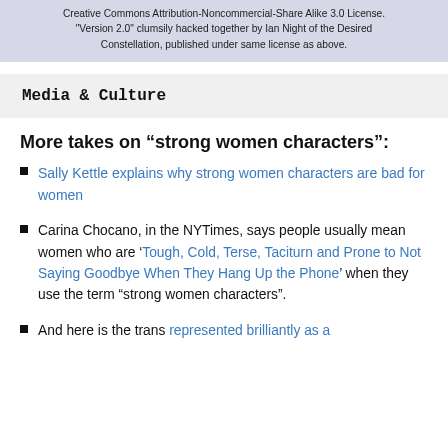[Figure (other): Light blue/purple banner with text about Creative Commons Attribution-Noncommercial-Share Alike 3.0 License and Version 2.0 credit to Ian Night of the Desired Constellation.]
Media & Culture
More takes on “strong women characters”:
Sally Kettle explains why strong women characters are bad for women
Carina Chocano, in the NYTimes, says people usually mean women who are ‘Tough, Cold, Terse, Taciturn and Prone to Not Saying Goodbye When They Hang Up the Phone’ when they use the term “strong women characters”.
And here is the trans represented brilliantly as a...